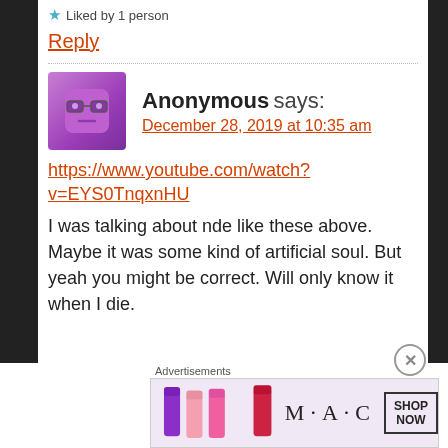★ Liked by 1 person
Reply
Anonymous says:
December 28, 2019 at 10:35 am
https://www.youtube.com/watch?v=EYS0TnqxnHU
I was talking about nde like these above. Maybe it was some kind of artificial soul. But yeah you might be correct. Will only know it when I die.
[Figure (illustration): MAC Cosmetics advertisement banner showing lipsticks with SHOP NOW text]
Advertisements